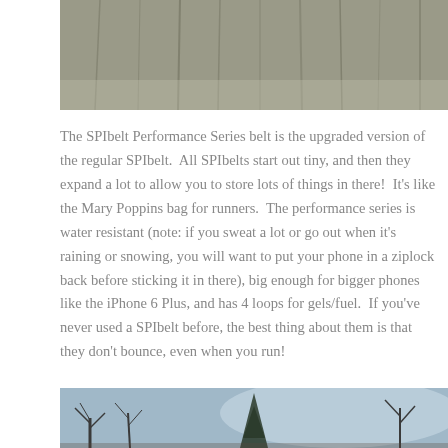[Figure (photo): Top portion of an outdoor photo, appears to show a sandy or textured surface with vertical streaks, gray-brown tones.]
The SPIbelt Performance Series belt is the upgraded version of the regular SPIbelt. All SPIbelts start out tiny, and then they expand a lot to allow you to store lots of things in there! It's like the Mary Poppins bag for runners. The performance series is water resistant (note: if you sweat a lot or go out when it's raining or snowing, you will want to put your phone in a ziplock back before sticking it in there), big enough for bigger phones like the iPhone 6 Plus, and has 4 loops for gels/fuel. If you've never used a SPIbelt before, the best thing about them is that they don't bounce, even when you run!
[Figure (photo): Bottom portion of an outdoor winter photo showing bare trees against a cloudy blue-gray sky.]